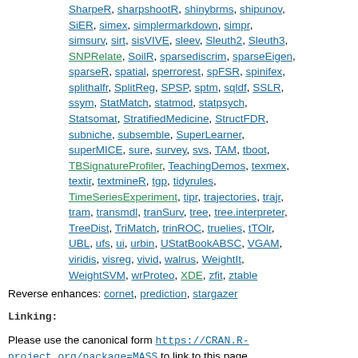SharpeR, sharpshootR, shinybrms, shipunov, SiER, simex, simplermarkdown, simpr, simsurv, sirt, sisVIVE, sleev, Sleuth2, Sleuth3, SNPRelate, SoilR, sparsediscrim, sparseEigen, sparseR, spatial, sperrorest, spFSR, spinifex, splithalfr, SplitReg, SPSP, sptm, sqldf, SSLR, ssym, StatMatch, statmod, statpsych, Statsomat, StratifiedMedicine, StructFDR, subniche, subsemble, SuperLearner, superMICE, sure, survey, svs, TAM, tboot, TBSignatureProfiler, TeachingDemos, texmex, textir, textmineR, tgp, tidyrules, TimeSeriesExperiment, tipr, trajectories, trajr, tram, transmdl, tranSurv, tree, tree.interpreter, TreeDist, TriMatch, trinROC, truelies, tTOlr, UBL, ufs, ui, urbin, UStatBookABSC, VGAM, viridis, visreg, vivid, walrus, WeightIt, WeightSVM, wrProteo, XDE, zfit, ztable
Reverse enhances: cornet, prediction, stargazer
Linking:
Please use the canonical form https://CRAN.R-project.org/package=MASS to link to this page.